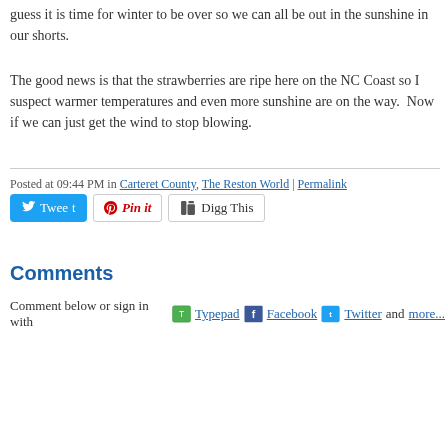guess it is time for winter to be over so we can all be out in the sunshine in our shorts.
The good news is that the strawberries are ripe here on the NC Coast so I suspect warmer temperatures and even more sunshine are on the way.  Now if we can just get the wind to stop blowing.
Posted at 09:44 PM in Carteret County, The Reston World | Permalink
[Figure (other): Social sharing buttons: Tweet (Twitter), Pin it (Pinterest), Digg This]
Comments
Comment below or sign in with Typepad Facebook Twitter and more...